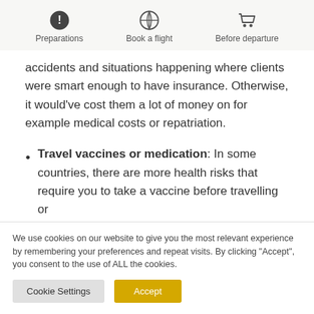Preparations | Book a flight | Before departure
accidents and situations happening where clients were smart enough to have insurance. Otherwise, it would've cost them a lot of money on for example medical costs or repatriation.
Travel vaccines or medication: In some countries, there are more health risks that require you to take a vaccine before travelling or
We use cookies on our website to give you the most relevant experience by remembering your preferences and repeat visits. By clicking "Accept", you consent to the use of ALL the cookies.